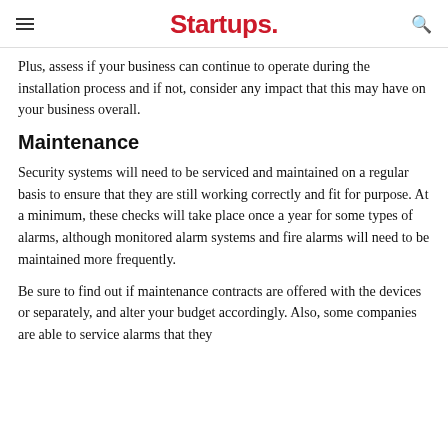Startups.
Plus, assess if your business can continue to operate during the installation process and if not, consider any impact that this may have on your business overall.
Maintenance
Security systems will need to be serviced and maintained on a regular basis to ensure that they are still working correctly and fit for purpose. At a minimum, these checks will take place once a year for some types of alarms, although monitored alarm systems and fire alarms will need to be maintained more frequently.
Be sure to find out if maintenance contracts are offered with the devices or separately, and alter your budget accordingly. Also, some companies are able to service alarms that they didn't originally supply. Although they may not be able to